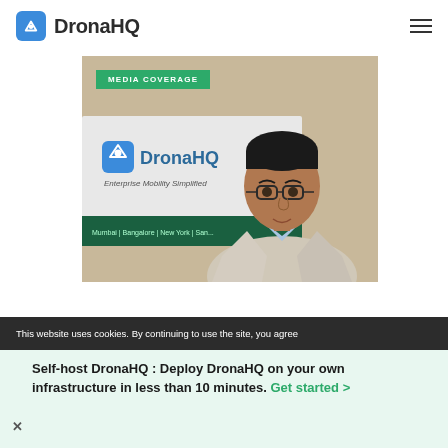DronaHQ
[Figure (photo): Media coverage photo showing a man in a light suit jacket standing in front of a DronaHQ branded banner reading 'Enterprise Mobility Simplified'. A green badge reads 'MEDIA COVERAGE' in the top-left corner.]
This website uses cookies. By continuing to use the site, you agree
Self-host DronaHQ : Deploy DronaHQ on your own infrastructure in less than 10 minutes. Get started >